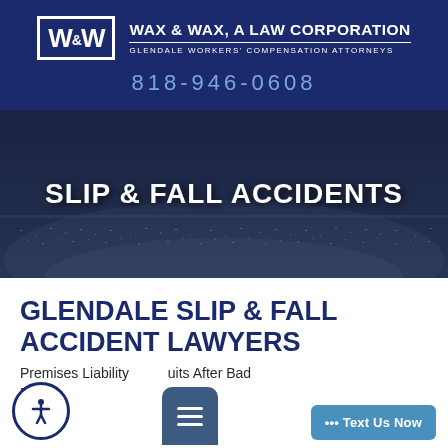WAX & WAX, A LAW CORPORATION — GLENDALE WORKERS' COMPENSATION ATTORNEYS — 818-946-0608
[Figure (photo): Aerial nighttime city view of Glendale, CA with dark blue overlay serving as hero banner background]
SLIP & FALL ACCIDENTS
GLENDALE SLIP & FALL ACCIDENT LAWYERS
Premises Liability Suits After Bad Falls